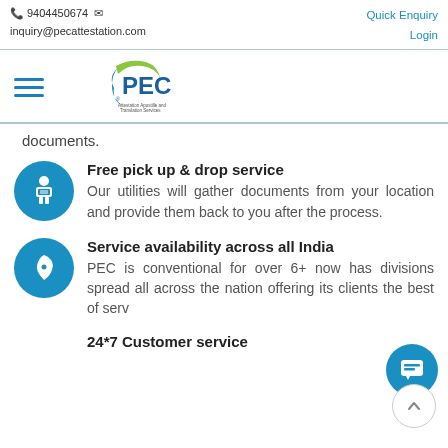📱 9404450674 ✉  inquiry@pecattestation.com  |  Quick Enquiry  Login
[Figure (logo): PEC logo - Attestation, Apostille and Translation Services with green swoosh and blue PEC text]
documents.
Free pick up & drop service
Our utilities will gather documents from your location and provide them back to you after the process.
Service availability across all India
PEC is conventional for over 6+ now has divisions spread all across the nation offering its clients the best of serv...
24*7 Customer service